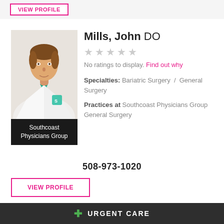VIEW PROFILE
[Figure (illustration): Generic male doctor avatar illustration with brown hair, white coat, teal tie, and Southcoast Physicians Group logo badge. Black label below reads 'Southcoast Physicians Group'.]
Mills, John DO
No ratings to display. Find out why
Specialties: Bariatric Surgery / General Surgery
Practices at Southcoast Physicians Group General Surgery
508-973-1020
VIEW PROFILE
URGENT CARE